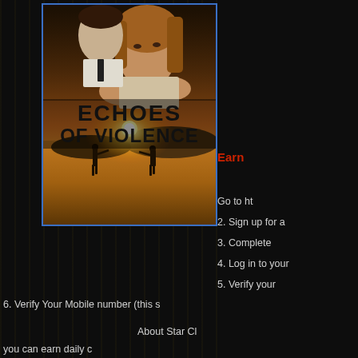[Figure (photo): Movie poster for 'Echoes of Violence' showing two people in the upper half with a dramatic desert sunset scene below, with bold text 'ECHOES OF VIOLENCE' overlaid]
Earn
Go to ht
2. Sign up for a
3. Complete
4. Log in to your
5. Verify your
6. Verify Your Mobile number (this s
About Star Cl
you can earn daily c